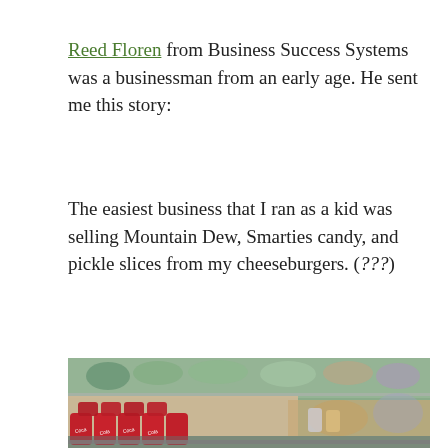Reed Floren from Business Success Systems was a businessman from an early age. He sent me this story:
The easiest business that I ran as a kid was selling Mountain Dew, Smarties candy, and pickle slices from my cheeseburgers. (???)
[Figure (photo): Photo of Coca-Cola cans and assorted candy/snack cans arranged in display boxes on a table, shot with shallow depth of field.]